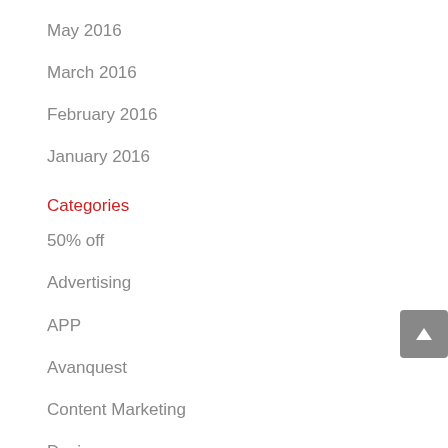May 2016
March 2016
February 2016
January 2016
Categories
50% off
Advertising
APP
Avanquest
Content Marketing
Design
Development
Digital Photo Editing Software